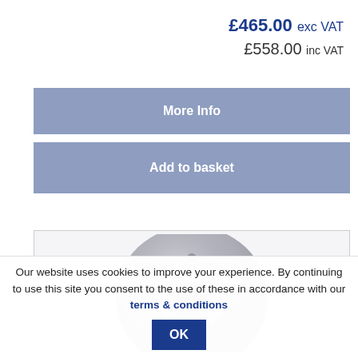£465.00 exc VAT
£558.00 inc VAT
More Info
Add to basket
[Figure (photo): A metallic brake disc/rotor product shown from the top, with drilled holes and a scalloped centre.]
Our website uses cookies to improve your experience. By continuing to use this site you consent to the use of these in accordance with our terms & conditions OK